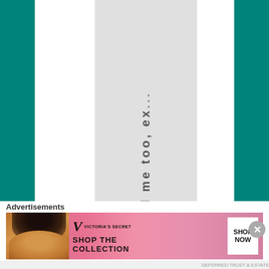and my grandparents. And me too, ex...
Advertisements
[Figure (other): Victoria's Secret advertisement banner with model, VS logo, 'SHOP THE COLLECTION' text and 'SHOP NOW' button]